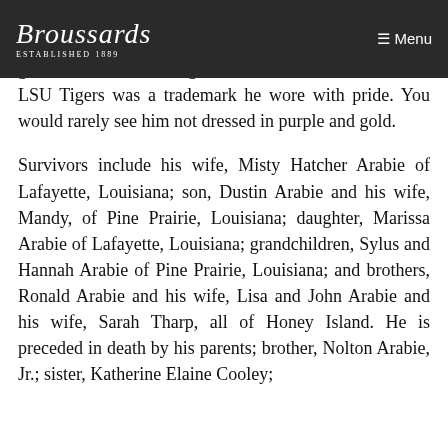[Figure (logo): Broussard's funeral home logo on dark header bar with script text 'Broussards' and tagline 'Established 1889', with a hamburger Menu button on the right]
twenty years. On his days off he enjoyed spending time with his family. He enjoyed hunting with his son and grandson whenever he got the chance. Coonie's love for LSU Tigers was a trademark he wore with pride. You would rarely see him not dressed in purple and gold.
Survivors include his wife, Misty Hatcher Arabie of Lafayette, Louisiana; son, Dustin Arabie and his wife, Mandy, of Pine Prairie, Louisiana; daughter, Marissa Arabie of Lafayette, Louisiana; grandchildren, Sylus and Hannah Arabie of Pine Prairie, Louisiana; and brothers, Ronald Arabie and his wife, Lisa and John Arabie and his wife, Sarah Tharp, all of Honey Island. He is preceded in death by his parents; brother, Nolton Arabie, Jr.; sister, Katherine Elaine Cooley;